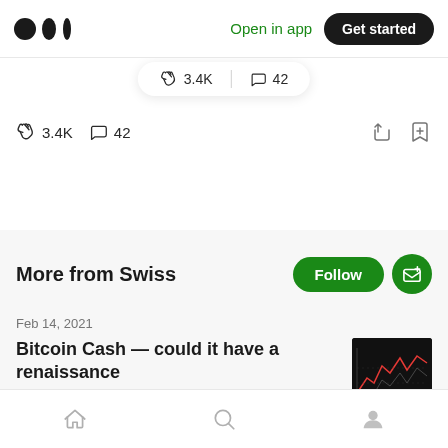Medium logo | Open in app | Get started
👏 3.4K  |  💬 42
👏 3.4K   💬 42
More from Swiss
Feb 14, 2021
Bitcoin Cash — could it have a renaissance
Home | Search | Profile